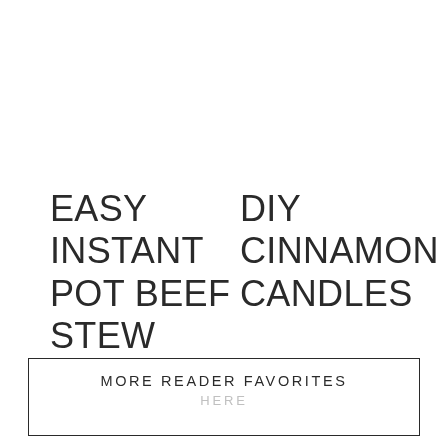EASY INSTANT POT BEEF STEW
DIY CINNAMON CANDLES
MORE READER FAVORITES HERE